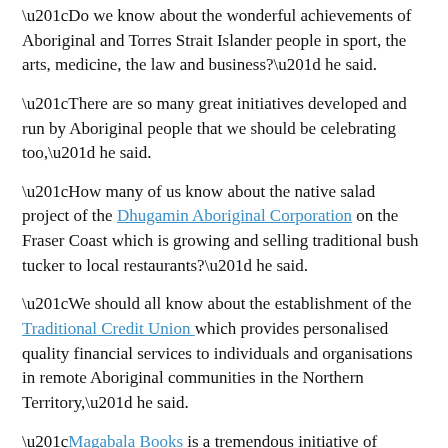“Do we know about the wonderful achievements of Aboriginal and Torres Strait Islander people in sport, the arts, medicine, the law and business?” he said.
“There are so many great initiatives developed and run by Aboriginal people that we should be celebrating too,” he said.
“How many of us know about the native salad project of the Dhugamin Aboriginal Corporation on the Fraser Coast which is growing and selling traditional bush tucker to local restaurants?” he said.
“We should all know about the establishment of the Traditional Credit Union which provides personalised quality financial services to individuals and organisations in remote Aboriginal communities in the Northern Territory,” he said.
“Magabala Books is a tremendous initiative of Aboriginal people in Western Australia which publishes the work of